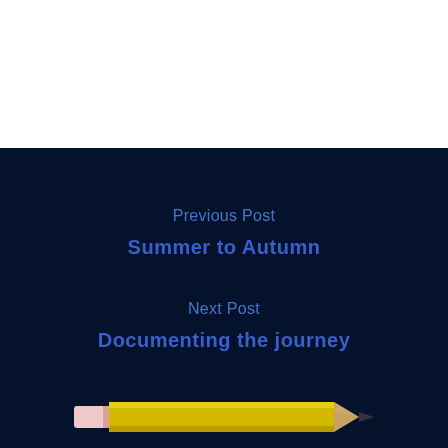Previous Post
Summer to Autumn
Next Post
Documenting the journey
[Figure (illustration): A yellow pencil illustration pointing right, with a pink eraser end and dark graphite tip]
Leave a Reply